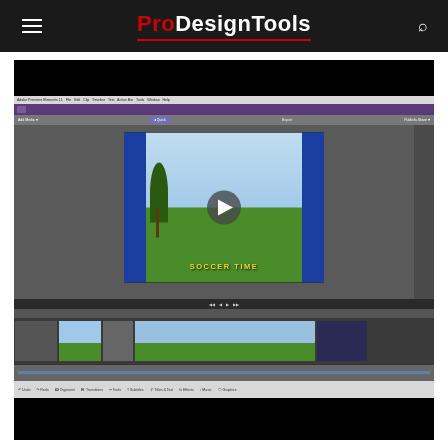ProDesignTools
[Figure (screenshot): Screenshot of Adobe Premiere Elements 11 video editing software showing a soccer video being edited, with a preview of players on a grass field with 'SOCCER TIME' text overlay, play button visible, and timeline with video/filmstrip clips at the bottom. Page is from the ProDesignTools website.]